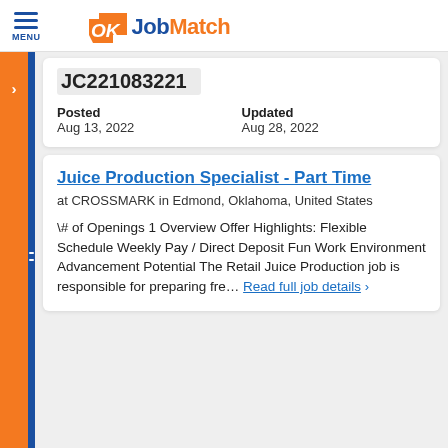OK JobMatch — MENU
JC221083221
| Posted | Updated |
| --- | --- |
| Aug 13, 2022 | Aug 28, 2022 |
Juice Production Specialist - Part Time
at CROSSMARK in Edmond, Oklahoma, United States
\# of Openings 1 Overview Offer Highlights: Flexible Schedule Weekly Pay / Direct Deposit Fun Work Environment Advancement Potential The Retail Juice Production job is responsible for preparing fre… Read full job details >